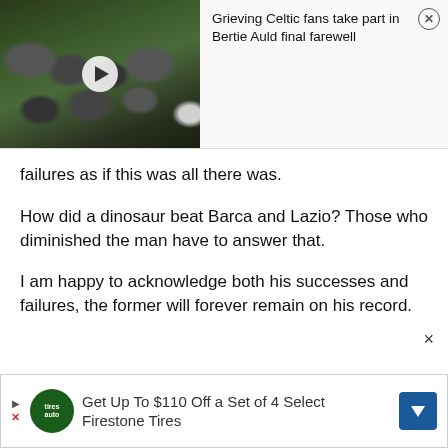[Figure (screenshot): Video thumbnail showing a crowd of people gathered outside, with a play button overlay]
Grieving Celtic fans take part in Bertie Auld final farewell
failures as if this was all there was.
How did a dinosaur beat Barca and Lazio? Those who diminished the man have to answer that.
I am happy to acknowledge both his successes and failures, the former will forever remain on his record.
[Figure (screenshot): Advertisement banner: Get Up To $110 Off a Set of 4 Select Firestone Tires with Tires Auto logo and blue arrow icon]